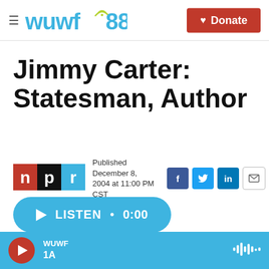wuwf 88.1 — Donate
Jimmy Carter: Statesman, Author
Published December 8, 2004 at 11:00 PM CST
[Figure (screenshot): NPR logo (red, black, blue tiles with letters n, p, r)]
[Figure (screenshot): Social share buttons: Facebook (blue), Twitter (light blue), LinkedIn (blue), Email (white with envelope icon)]
[Figure (other): Blue pill-shaped LISTEN button with play triangle and time 0:00]
WUWF 1A — audio player bar with red play button and waveform icon